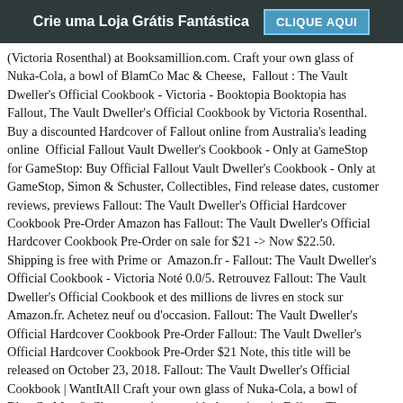Crie uma Loja Grátis Fantástica  CLIQUE AQUI
(Victoria Rosenthal) at Booksamillion.com. Craft your own glass of Nuka-Cola, a bowl of BlamCo Mac & Cheese,  Fallout : The Vault Dweller's Official Cookbook - Victoria - Booktopia Booktopia has Fallout, The Vault Dweller's Official Cookbook by Victoria Rosenthal. Buy a discounted Hardcover of Fallout online from Australia's leading online  Official Fallout Vault Dweller's Cookbook - Only at GameStop for GameStop: Buy Official Fallout Vault Dweller's Cookbook - Only at GameStop, Simon & Schuster, Collectibles, Find release dates, customer reviews, previews Fallout: The Vault Dweller's Official Hardcover Cookbook Pre-Order Amazon has Fallout: The Vault Dweller's Official Hardcover Cookbook Pre-Order on sale for $21 -> Now $22.50. Shipping is free with Prime or  Amazon.fr - Fallout: The Vault Dweller's Official Cookbook - Victoria Noté 0.0/5. Retrouvez Fallout: The Vault Dweller's Official Cookbook et des millions de livres en stock sur Amazon.fr. Achetez neuf ou d'occasion. Fallout: The Vault Dweller's Official Hardcover Cookbook Pre-Order Fallout: The Vault Dweller's Official Hardcover Cookbook Pre-Order $21 Note, this title will be released on October 23, 2018. Fallout: The Vault Dweller's Official Cookbook | WantItAll Craft your own glass of Nuka-Cola, a bowl of BlamCo Mac & Cheese, and more with the recipes in Fallout: The Official Cookbook. Based on the irradiated  [rMDdp]_FREE BOOK Fallout: The Vault Dweller's